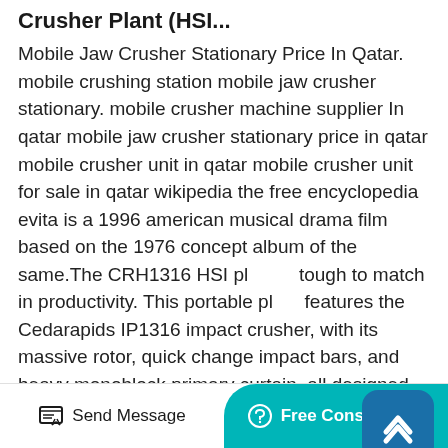Crusher Plant (HSI...
Mobile Jaw Crusher Stationary Price In Qatar. mobile crushing station mobile jaw crusher stationary. mobile crusher machine supplier In qatar mobile jaw crusher stationary price in qatar mobile crusher unit in qatar mobile crusher unit for sale in qatar wikipedia the free encyclopedia evita is a 1996 american musical drama film based on the 1976 concept album of the same.The CRH1316 HSI pl tough to match in productivity. This portable pl features the Cedarapids IP1316 impact crusher, with its massive rotor, quick change impact bars, and heavy monoblock primary curtain, all designed for years of tough primary crushing. This plant has the capacity you need to lead off most any large portable operation.Portable impact crusher plant. Portable
[Figure (other): Scroll-up navigation badge button with upward chevron arrow icon, teal/dark blue rounded square]
Send Message | Free Consultation